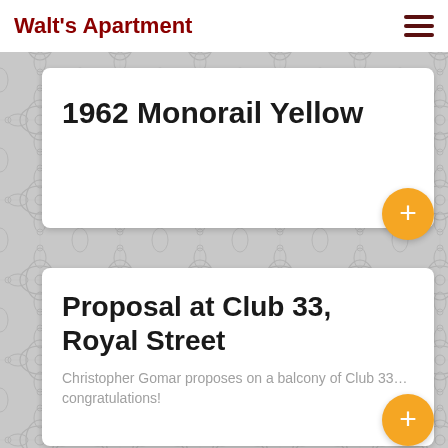Walt's Apartment
1962 Monorail Yellow
Proposal at Club 33, Royal Street
Christopher Gomar proposes on a balcony of Club 33... congratulations!